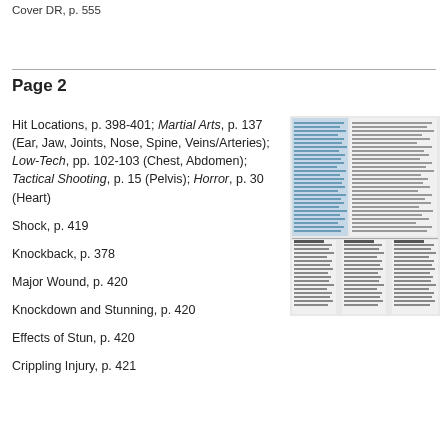Cover DR, p. 555
Page 2
Hit Locations, p. 398-401; Martial Arts, p. 137 (Ear, Jaw, Joints, Nose, Spine, Veins/Arteries); Low-Tech, pp. 102-103 (Chest, Abdomen); Tactical Shooting, p. 15 (Pelvis); Horror, p. 30 (Heart)
Shock, p. 419
Knockback, p. 378
Major Wound, p. 420
Knockdown and Stunning, p. 420
Effects of Stun, p. 420
Crippling Injury, p. 421
[Figure (screenshot): A scanned or photographed page of a gaming reference document showing dense text columns with rules references.]